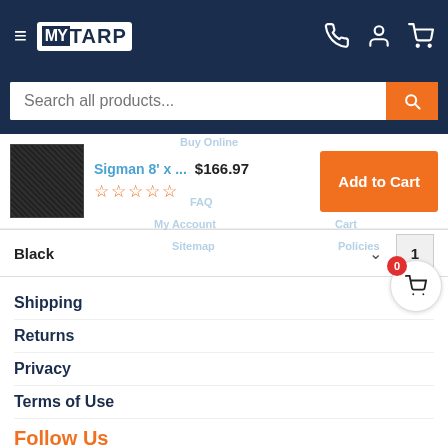MY TARP
Search all products...
[Figure (screenshot): Product listing row showing Sigman 8' x ... tarp image, price $166.97, star rating, and Add to Cart button]
Black
Shipping
Returns
Privacy
Terms of Use
Follow Us
Signup for our newsletter.
Email Address